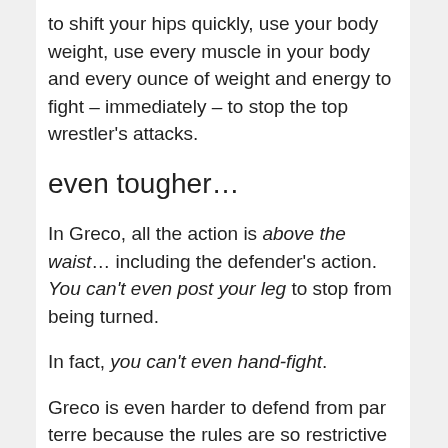to shift your hips quickly, use your body weight, use every muscle in your body and every ounce of weight and energy to fight – immediately – to stop the top wrestler's attacks.
even tougher…
In Greco, all the action is above the waist… including the defender's action.  You can't even post your leg to stop from being turned.
In fact, you can't even hand-fight.
Greco is even harder to defend from par terre because the rules are so restrictive that you